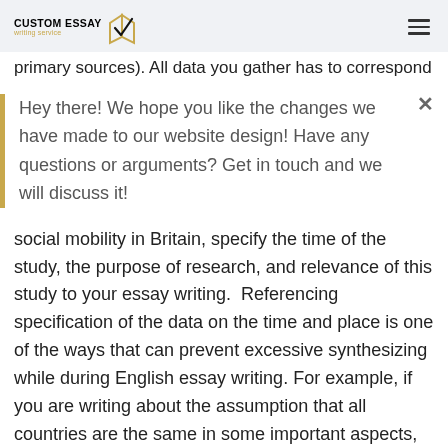CUSTOM ESSAY writing service
primary sources). All data you gather has to correspond
Hey there! We hope you like the changes we have made to our website design! Have any questions or arguments? Get in touch and we will discuss it!
social mobility in Britain, specify the time of the study, the purpose of research, and relevance of this study to your essay writing.  Referencing specification of the data on the time and place is one of the ways that can prevent excessive synthesizing while during English essay writing. For example, if you are writing about the assumption that all countries are the same in some important aspects, you should find enough reliable information to prove this assumption in your college